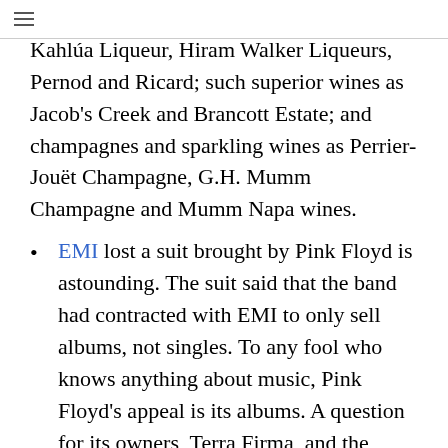Beefeater Gin, Martell Cognac, Malibu, Kahlúa Liqueur, Hiram Walker Liqueurs, Pernod and Ricard; such superior wines as Jacob's Creek and Brancott Estate; and champagnes and sparkling wines as Perrier-Jouët Champagne, G.H. Mumm Champagne and Mumm Napa wines.
EMI lost a suit brought by Pink Floyd is astounding. The suit said that the band had contracted with EMI to only sell albums, not singles. To any fool who knows anything about music, Pink Floyd's appeal is its albums. A question for its owners, Terra Firma, and the banks like Citibank, that lent it money. Putting aside the obvious merits of Pink Floyd's case, the question is thus. Why can't you keep Pink Floyd happy?